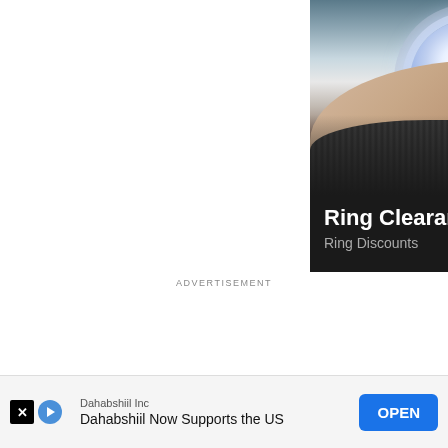[Figure (photo): Advertisement banner showing a hand wearing a large diamond halo engagement ring, with dark background and text overlay reading 'Ring Clearance Sale' and 'Ring Discounts' with a right-arrow button]
ADVERTISEMENT
[Figure (screenshot): Close button (x) in the top-right corner of the page]
[Figure (screenshot): Bottom banner ad for Dahabshiil Inc with X and play icons, text 'Dahabshiil Now Supports the US' and an OPEN button]